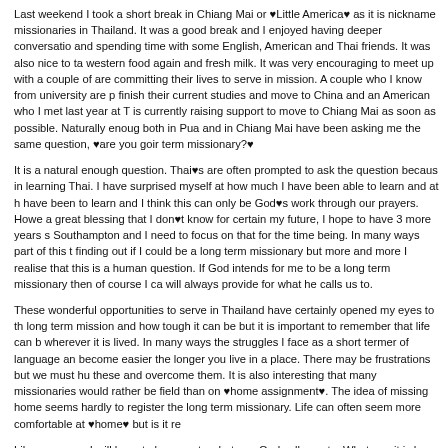Last weekend I took a short break in Chiang Mai or âLittle Americaâ as it is nicknamed by missionaries in Thailand. It was a good break and I enjoyed having deeper conversations and spending time with some English, American and Thai friends. It was also nice to taste western food again and fresh milk. It was very encouraging to meet up with a couple of who are committing their lives to serve in mission. A couple who I know from university are planning to finish their current studies and move to China and an American who I met last year at T is currently raising support to move to Chiang Mai as soon as possible. Naturally enough both in Pua and in Chiang Mai have been asking me the same question, âare you going to be a long term missionary?â
It is a natural enough question. Thaiâs are often prompted to ask the question because of my progress in learning Thai. I have surprised myself at how much I have been able to learn and at how fast I have been to learn and I think this can only be Godâs work through our prayers. However, while it is a great blessing that I donât know for certain my future, I hope to have 3 more years studying in Southampton and I need to focus on that for the time being. In many ways part of this trip is about finding out if I could be a long term missionary but more and more I realise that this is a very human question. If God intends for me to be a long term missionary then of course I can and he will always provide for what he calls us to.
These wonderful opportunities to serve in Thailand have certainly opened my eyes to the reality of long term mission and how tough it can be but it is important to remember that life can be tough wherever it is lived. In many ways the struggles I face as a short termer of language and culture become easier the longer you live in a place. There may be frustrations but we must humble ourselves and these and overcome them. It is also interesting that many missionaries would rather be in the field than on âhome assignmentâ. The idea of missing home seems hardly to register with the long term missionary. Life can often seem more comfortable at âhomeâ but is it re
Like everyone, I will have to be open to whatever God calls me to. Whatever it is he will provide and this is a wonderful certainty for us if weâre Christians. What I do know is that my life will always involve sharing the gospel wherever I live and supporting world mission in whatever way I can. This is what we are all called to.